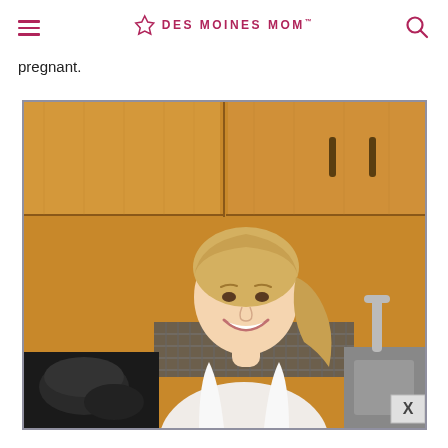DES MOINES MOM
pregnant.
[Figure (photo): A smiling blonde woman with her hair in a ponytail standing in a kitchen with wooden cabinets, a tile backsplash, and a sink visible in the background. She appears to be pregnant. A close-up, slightly cropped photo. There is an X close button in the bottom right corner.]